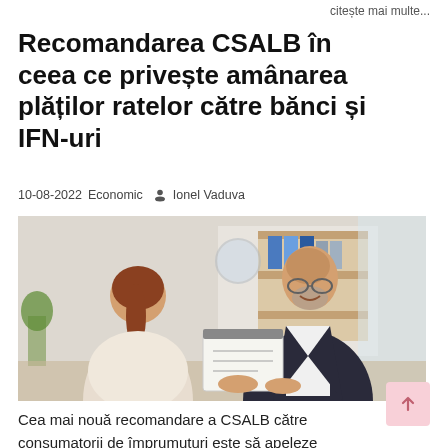citește mai multe...
Recomandarea CSALB în ceea ce privește amânarea plăților ratelor către bănci și IFN-uri
10-08-2022 Economic  Ionel Vaduva
[Figure (photo): A man in a dark suit with glasses and beard smiling while handing a document to a woman with auburn hair in a ponytail, seated across a desk in an office setting.]
Cea mai nouă recomandare a CSALB către consumatorii de împrumuturi este să apeleze